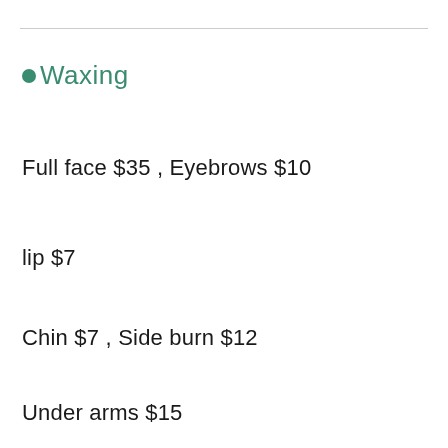•Waxing
Full face $35 , Eyebrows $10
lip $7
Chin $7 , Side burn $12
Under arms $15